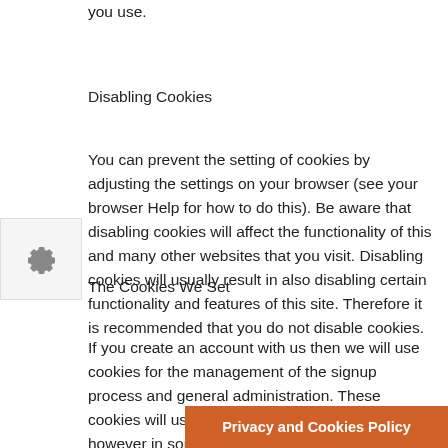you use.
Disabling Cookies
You can prevent the setting of cookies by adjusting the settings on your browser (see your browser Help for how to do this). Be aware that disabling cookies will affect the functionality of this and many other websites that you visit. Disabling cookies will usually result in also disabling certain functionality and features of this site. Therefore it is recommended that you do not disable cookies.
The Cookies We Set
If you create an account with us then we will use cookies for the management of the signup process and general administration. These cookies will usually be deleted when you log out, however in some cases they may remain afterwards to r…
[Figure (other): Gear/settings icon in a square box on the left side of the page]
Privacy and Cookies Policy